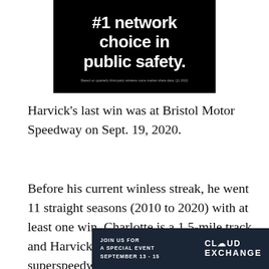[Figure (advertisement): Black background advertisement banner showing '#1 network choice in public safety.' with footnote text: 'Based on quarterly third-party wireless voice market share data, Q1 2022']
Harvick's last win was at Bristol Motor Speedway on Sept. 19, 2020.
Before his current winless streak, he went 11 straight seasons (2010 to 2020) with at least one win. Charlotte is a 1.5-mile track and Harvick has struggled on superspeedways, finishing 12th at Las Vegas, 21st at Atlanta and 15th at Kans
[Figure (advertisement): Bottom advertisement banner: 'JOIN US FOR A SPECIAL EVENT SEPTEMBER 13 - 15' with Cloud Exchange logo on dark blue background]